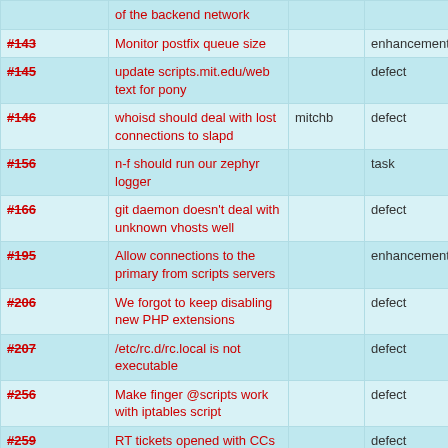| Ticket | Summary | Owner | Type | Priority |
| --- | --- | --- | --- | --- |
| (partial top) | of the backend network |  |  |  |
| #143 | Monitor postfix queue size |  | enhancement | minor |
| #145 | update scripts.mit.edu/web text for pony |  | defect | minor |
| #146 | whoisd should deal with lost connections to slapd | mitchb | defect | minor |
| #156 | n-f should run our zephyr logger |  | task | minor |
| #166 | git daemon doesn't deal with unknown vhosts well |  | defect | minor |
| #195 | Allow connections to the primary from scripts servers |  | enhancement | minor |
| #206 | We forgot to keep disabling new PHP extensions |  | defect | minor |
| #207 | /etc/rc.d/rc.local is not executable |  | defect | minor |
| #256 | Make finger @scripts work with iptables script |  | defect | minor |
| #259 | RT tickets opened with CCs do not send correspondence to those CCs |  | defect | minor |
| #381 | Disable allow_weak_crypto on scripts |  | enhancement | minor |
| #??? | Konami code detection... |  | defect | minor |